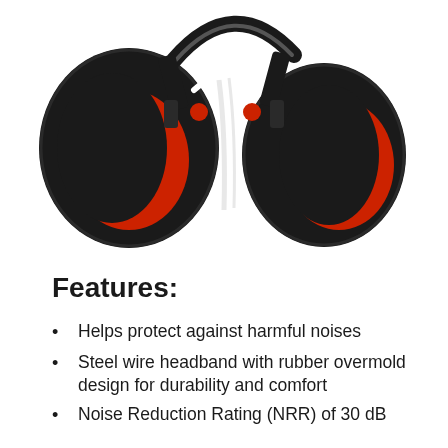[Figure (photo): Red and black over-ear hearing protection earmuffs with steel wire headband and rubber overmold, shown folded, viewed from slightly above at an angle.]
Features:
Helps protect against harmful noises
Steel wire headband with rubber overmold design for durability and comfort
Noise Reduction Rating (NRR) of 30 dB